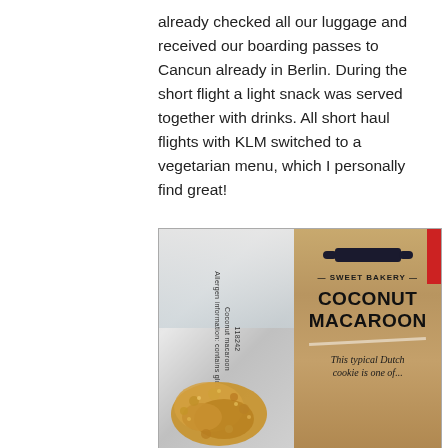already checked all our luggage and received our boarding passes to Cancun already in Berlin. During the short flight a light snack was served together with drinks. All short haul flights with KLM switched to a vegetarian menu, which I personally find great!
[Figure (photo): Photo of a KLM airline snack: a clear plastic bag containing a coconut macaroon cookie (visible crumble) next to its kraft paper Sweet Bakery branded packaging labeled 'COCONUT MACAROON' with text 'This typical Dutch cookie is...' partially visible.]